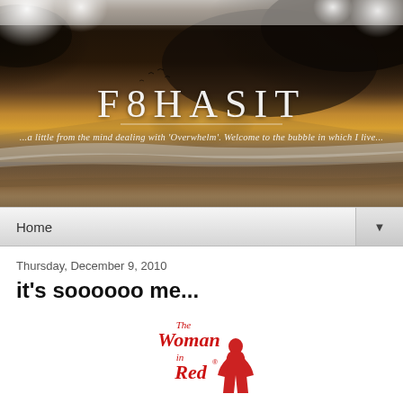[Figure (photo): Blog header banner showing a dramatic beach/ocean sunset scene with dark storm clouds on the right, golden light reflecting on the water and sandy shore. White bokeh light circles in top corners. Site title 'F8HASIT' in large serif letters centered, with a thin underline and italic tagline below.]
F8HASIT
...a little from the mind dealing with 'Overwhelm'. Welcome to the bubble in which I live...
Home
Thursday, December 9, 2010
it's soooooo me...
[Figure (photo): The Woman in Red logo/image showing script red text 'The Woman in Red' with a registered trademark symbol, and a partial figure of a woman in a red dress at the bottom right of the logo.]